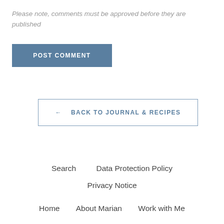Please note, comments must be approved before they are published
POST COMMENT
← BACK TO JOURNAL & RECIPES
Search   Data Protection Policy   Privacy Notice   Home   About Marian   Work with Me